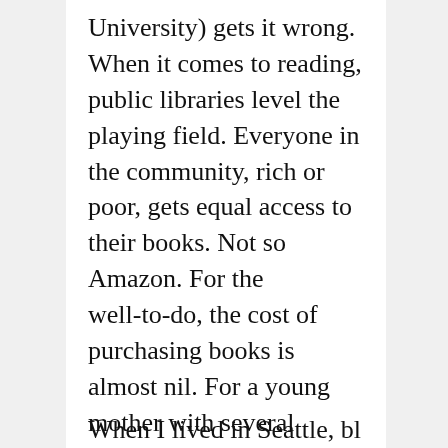University) gets it wrong. When it comes to reading, public libraries level the playing field. Everyone in the community, rich or poor, gets equal access to their books. Not so Amazon. For the well-to-do, the cost of purchasing books is almost nil. For a young mother with several eager-to-read children buying would be an almost intolerable burden. It says much about this economist that he fails to see that—or perhaps doesn't care.
— -
When I lived in Seattle, bl...